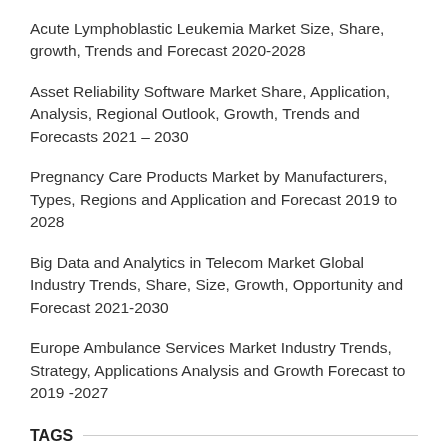Acute Lymphoblastic Leukemia Market Size, Share, growth, Trends and Forecast 2020-2028
Asset Reliability Software Market Share, Application, Analysis, Regional Outlook, Growth, Trends and Forecasts 2021 – 2030
Pregnancy Care Products Market by Manufacturers, Types, Regions and Application and Forecast 2019 to 2028
Big Data and Analytics in Telecom Market Global Industry Trends, Share, Size, Growth, Opportunity and Forecast 2021-2030
Europe Ambulance Services Market Industry Trends, Strategy, Applications Analysis and Growth Forecast to 2019 -2027
TAGS